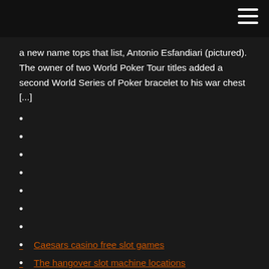a new name tops that list, Antonio Esfandiari (pictured). The owner of two World Poker Tour titles added a second World Series of Poker bracelet to his war chest [...]
Caesars casino free slot games
The hangover slot machine locations
Chumash casino shuttle from los angeles
The most trusted casino online